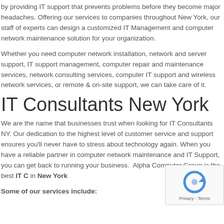by providing IT support that prevents problems before they become major headaches. Offering our services to companies throughout New York, our staff of experts can design a customized IT Management and computer network maintenance solution for your organization.
Whether you need computer network installation, network and server support, IT support management, computer repair and maintenance services, network consulting services, computer IT support and wireless network services, or remote & on-site support, we can take care of it.
IT Consultants New York
We are the name that businesses trust when looking for IT Consultants NY. Our dedication to the highest level of customer service and support ensures you'll never have to stress about technology again. When you have a reliable partner in computer network maintenance and IT Support, you can get back to running your business.  Alpha Computer Group is the best IT C in New York
Some of our services include: